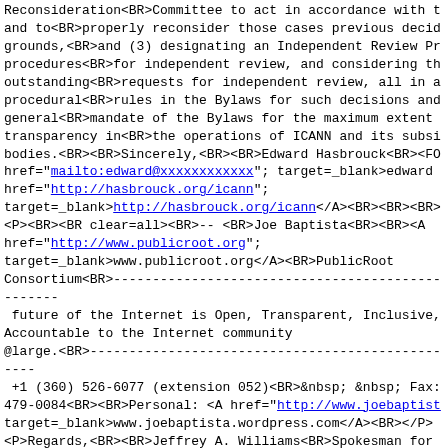Reconsideration<BR>Committee to act in accordance with the and to<BR>properly reconsider those cases previous decided on grounds,<BR>and (3) designating an Independent Review Pr procedures<BR>for independent review, and considering th outstanding<BR>requests for independent review, all in a procedural<BR>rules in the Bylaws for such decisions and general<BR>mandate of the Bylaws for the maximum extent transparency in<BR>the operations of ICANN and its subsi bodies.<BR><BR>Sincerely,<BR><BR>Edward Hasbrouck<BR><FO href="mailto:edward@xxxxxxxxxxxx"; target=_blank>edward href="http://hasbrouck.org/icann"; target=_blank>http://hasbrouck.org/icann</A><BR><BR><BR> <P><BR><BR clear=all><BR>-- <BR>Joe Baptista<BR><BR><A href="http://www.publicroot.org"; target=_blank>www.publicroot.org</A><BR>PublicRoot Consortium<BR>------------------------------------------------------- future of the Internet is Open, Transparent, Inclusive, Accountable to the Internet community @large.<BR>------------------------------------------------------- +1 (360) 526-6077 (extension 052)<BR>&nbsp; &nbsp; Fax: 479-0084<BR><BR>Personal: <A href="http://www.joebaptist target=_blank>www.joebaptista.wordpress.com</A><BR></P> <P>Regards,<BR><BR>Jeffrey A. Williams<BR>Spokesman for 294k members/stakeholders strong!)<BR>"Obedience of the freedom" -<BR>&nbsp;&nbsp; Abraham Lincoln<BR><BR>"Credi performance of duty and not with what is very<BR>often t Theodore Roosevelt<BR><BR>"If the probability be called the burden, B; liability<BR>depends upon whether B is le by<BR>P: i.e., whether B is less than PL."<BR>United Sta Towing&nbsp; (159 F.2d 169 [2d Cir. 19471<BR>